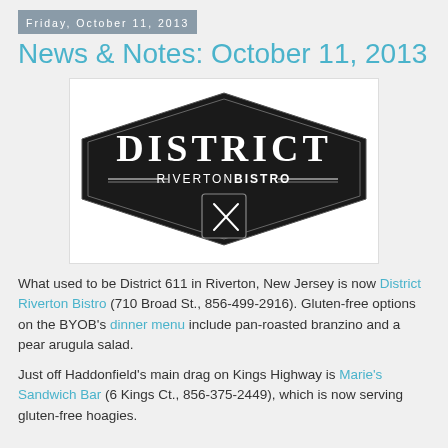Friday, October 11, 2013
News & Notes: October 11, 2013
[Figure (logo): District Riverton Bistro logo — black diamond/hexagon shape with 'DISTRICT' in large white serif letters, 'RIVERTON BISTRO' below with decorative lines, and crossed fork/knife icon at bottom]
What used to be District 611 in Riverton, New Jersey is now District Riverton Bistro (710 Broad St., 856-499-2916). Gluten-free options on the BYOB's dinner menu include pan-roasted branzino and a pear arugula salad.
Just off Haddonfield's main drag on Kings Highway is Marie's Sandwich Bar (6 Kings Ct., 856-375-2449), which is now serving gluten-free hoagies.